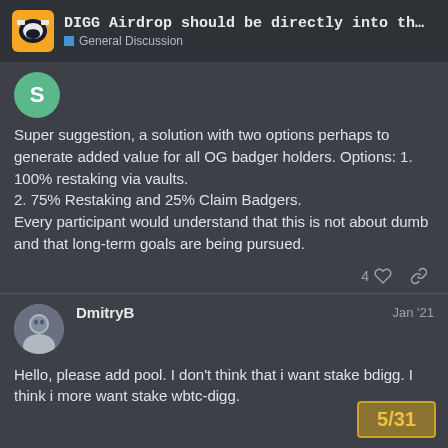DIGG Airdrop should be directly into th… — General Discussion
Super suggestion, a solution with two options perhaps to generate added value for all OG badger holders. Options: 1. 100% restaking via vaults.
2. 75% Restaking and 25% Claim Badgers.
Every participant would understand that this is not about dumb and that long-term goals are being pursued.
DmitryB  Jan '21
Hello, please add pool. I don't think that i want stake bdigg. I think i more want stake wbtc-digg.
5/31